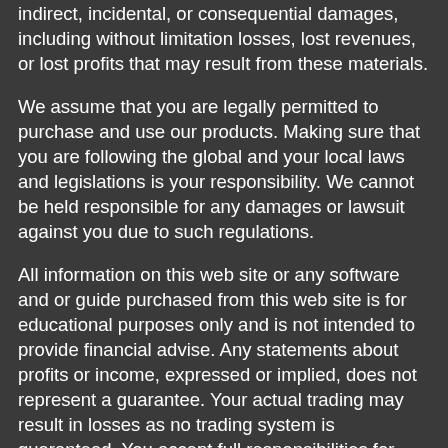indirect, incidental, or consequential damages, including without limitation losses, lost revenues, or lost profits that may result from these materials.
We assume that you are legally permitted to purchase and use our products. Making sure that you are following the global and your local laws and legislations is your responsibility. We cannot be held responsible for any damages or lawsuit against you due to such regulations.
All information on this web site or any software and or guide purchased from this web site is for educational purposes only and is not intended to provide financial advise. Any statements about profits or income, expressed or implied, does not represent a guarantee. Your actual trading may result in losses as no trading system is guaranteed. You accept full responsibilities for your actions, trades, profit or loss, and agree to hold the owner of Blue Edge Financial and any authorized distributors of this information harmless in any and all ways. All rights reserved. The use of this web site and or it's contents